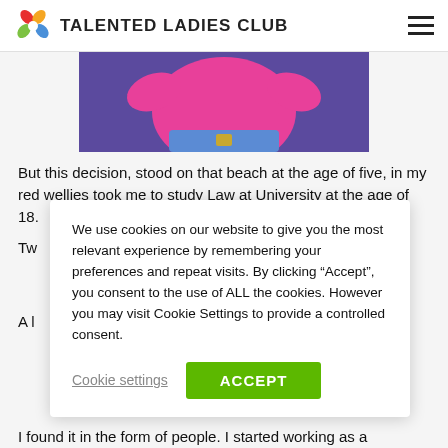TALENTED LADIES CLUB
[Figure (photo): Woman wearing pink top and blue jeans against a purple background, cropped to show torso]
But this decision, stood on that beach at the age of five, in my red wellies took me to study Law at University at the age of 18.
Tw... tha... pe...
A l... ma... ca... we...
We use cookies on our website to give you the most relevant experience by remembering your preferences and repeat visits. By clicking “Accept”, you consent to the use of ALL the cookies. However you may visit Cookie Settings to provide a controlled consent.
I found it in the form of people. I started working as a